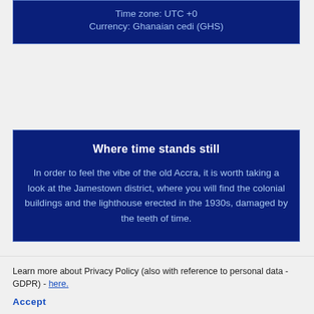Time zone: UTC +0
Currency: Ghanaian cedi (GHS)
Where time stands still
In order to feel the vibe of the old Accra, it is worth taking a look at the Jamestown district, where you will find the colonial buildings and the lighthouse erected in the 1930s, damaged by the teeth of time.
Meeting with the wildlife
About 45 km north-east of the center of Accra, there is the unusual Shai Hills Resource Reserve – a perfect place for walking and cycling.
Learn more about Privacy Policy (also with reference to personal data - GDPR) - here.
Accept